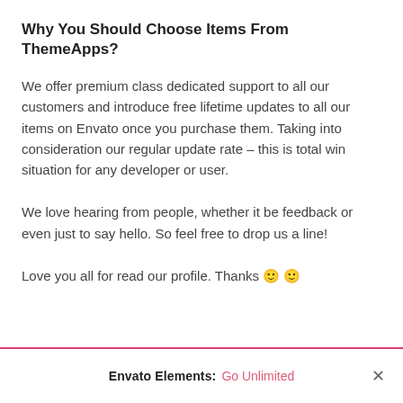Why You Should Choose Items From ThemeApps?
We offer premium class dedicated support to all our customers and introduce free lifetime updates to all our items on Envato once you purchase them. Taking into consideration our regular update rate – this is total win situation for any developer or user.
We love hearing from people, whether it be feedback or even just to say hello. So feel free to drop us a line!
Love you all for read our profile. Thanks 🙂 🙂
Envato Elements: Go Unlimited ×